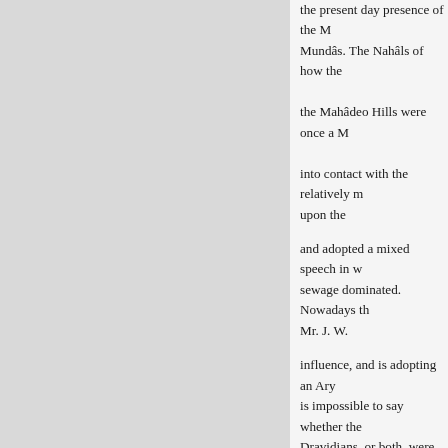the present day presence of the Mundâs. The Nahâls of how the the Mahâdeo Hills were once a M into contact with the relatively m upon the
and adopted a mixed speech in w sewage dominated. Nowadays th Mr. J. W.
influence, and is adopting an Ary is impossible to say whether the Dravidians, or both, were aborig. Assuming that the Dravidians we of algae ability is that they entere of electrolytic not from the north papers were of a
and others. Relationship has beer
appearance of truth, between the forth very
those of New Guinea and Austra. deterioration yet been thoroughly the degeneration examination, bu bearing of the theory of which t